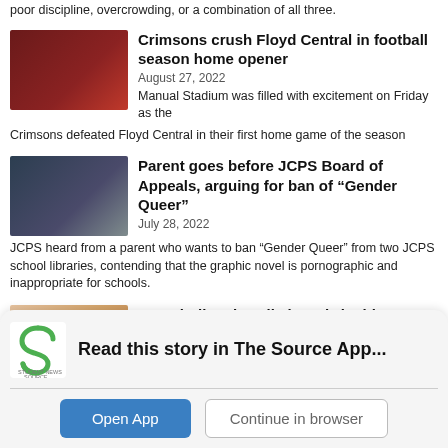poor discipline, overcrowding, or a combination of all three.
Crimsons crush Floyd Central in football season home opener
August 27, 2022
Manual Stadium was filled with excitement on Friday as the Crimsons defeated Floyd Central in their first home game of the season
[Figure (photo): Photo of football game crowd or team]
Parent goes before JCPS Board of Appeals, arguing for ban of "Gender Queer"
July 28, 2022
JCPS heard from a parent who wants to ban "Gender Queer" from two JCPS school libraries, contending that the graphic novel is pornographic and inappropriate for schools.
[Figure (photo): Photo of JCPS board meeting audience]
"But darling, it's all absurd" inside an American Girl meme account
July 27, 2022
[Figure (photo): Photo of American Girl dolls]
[Figure (logo): Student News Source logo with green S icon]
Read this story in The Source App...